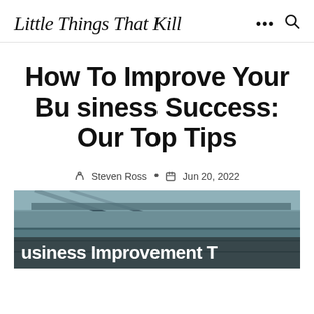Little Things That Kill
How To Improve Your Business Success: Our Top Tips
Steven Ross • Jun 20, 2022
[Figure (photo): A teal-tinted architectural photo of a modern building exterior with the text 'Business Improvement T...' overlaid at the bottom in bold white letters.]